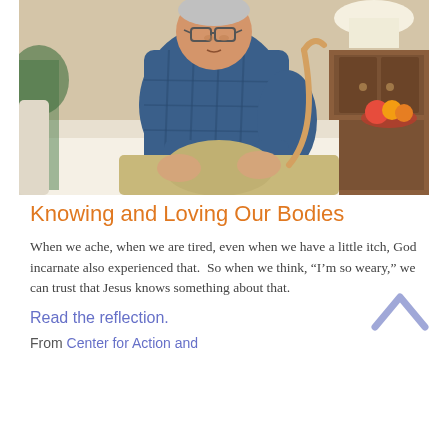[Figure (photo): An elderly man sitting on a couch, hunched forward holding his knee with one hand and a wooden cane in the other, wearing a blue plaid shirt and khaki pants, with a lamp and wooden furniture visible in the background.]
Knowing and Loving Our Bodies
When we ache, when we are tired, even when we have a little itch, God incarnate also experienced that. So when we think, “I’m so weary,” we can trust that Jesus knows something about that.
Read the reflection.
From Center for Action and